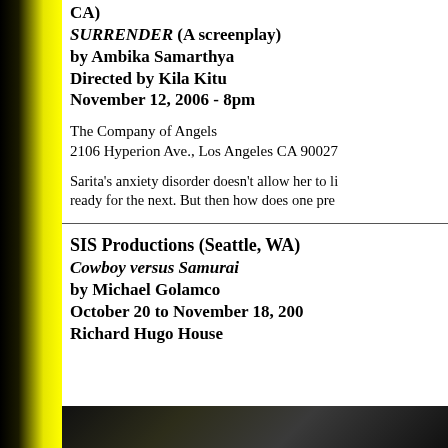CA)
SURRENDER (A screenplay) by Ambika Samarthya Directed by Kila Kitu November 12, 2006 - 8pm
The Company of Angels
2106 Hyperion Ave., Los Angeles CA 90027
Sarita's anxiety disorder doesn't allow her to li... ready for the next. But then how does one pre...
SIS Productions (Seattle, WA)
Cowboy versus Samurai by Michael Golamco October 20 to November 18, 200... Richard Hugo House
[Figure (photo): Dark photo strip at bottom of page]